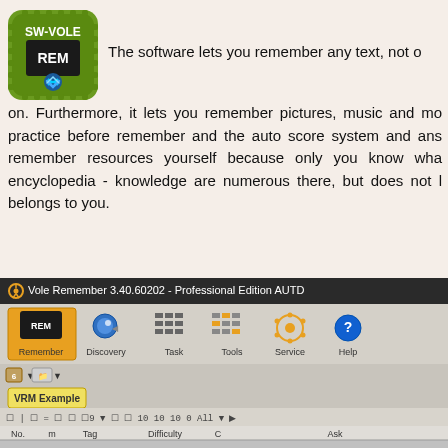[Figure (logo): SW-VOLE / VRM app logo with REM chip icon on dark green rounded square background]
The software lets you remember any text, not o
on. Furthermore, it lets you remember pictures, music and mo practice before remember and the auto score system and ans remember resources yourself because only you know wha encyclopedia - knowledge are numerous there, but does not l belongs to you.
[Figure (screenshot): Vole Remember 3.40.60202 - Professional Edition AUTD application window showing toolbar with Remember, Discovery, Task, Tools, Service, Help buttons. Below is VRM Example tab with a table showing No., m, Tag, Difficulty, C, Ask columns. Row 6 shows Physics with difficulty rating and question 'What is the name of this Newton's law?' Row 7 is partially visible.]